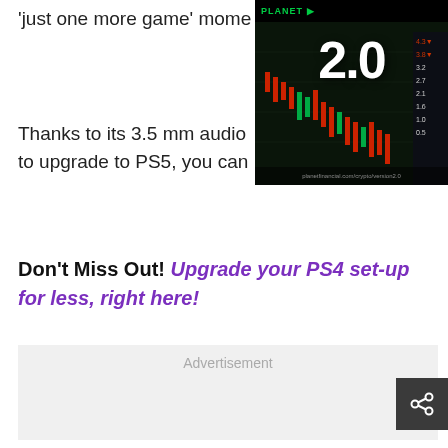'just one more game' mome
[Figure (screenshot): Thumbnail image of a trading chart showing '2.0' in large white text with candlestick chart and Planet trading platform branding]
Thanks to its 3.5 mm audio to upgrade to PS5, you can
Don't Miss Out! Upgrade your PS4 set-up for less, right here!
Advertisement